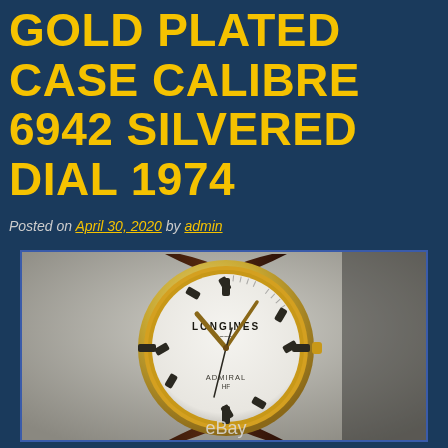GOLD PLATED CASE CALIBRE 6942 SILVERED DIAL 1974
Posted on April 30, 2020 by admin
[Figure (photo): A Longines Admiral HF wristwatch with gold plated case, silvered dial, and brown leather strap on a white/grey background. The watch face shows LONGINES branding and ADMIRAL HF text. An eBay watermark appears at the bottom.]